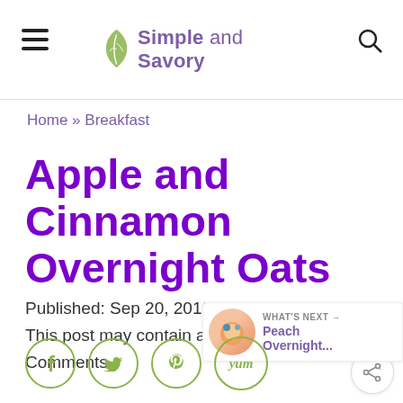Simple and Savory
Home » Breakfast
Apple and Cinnamon Overnight Oats
Published: Sep 20, 2019 · by Anne · This post may contain affiliate links 17 Comments